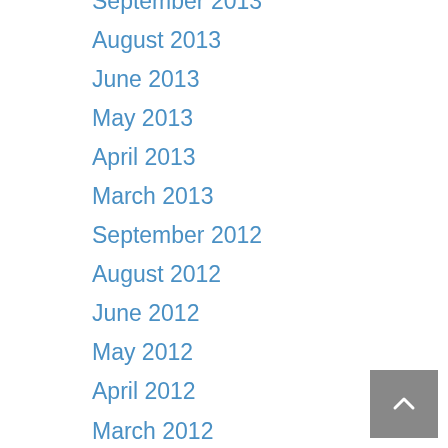September 2013
August 2013
June 2013
May 2013
April 2013
March 2013
September 2012
August 2012
June 2012
May 2012
April 2012
March 2012
February 2012
January 2012
December 2011